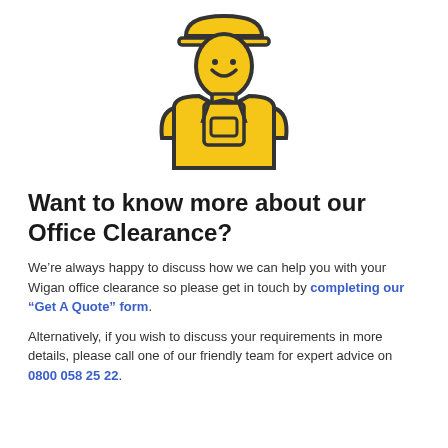[Figure (illustration): Yellow cartoon icon of a worker/tradesperson wearing a hard hat and overalls, drawn with thick dark outlines on a white background.]
Want to know more about our Office Clearance?
We’re always happy to discuss how we can help you with your Wigan office clearance so please get in touch by completing our “Get A Quote” form.
Alternatively, if you wish to discuss your requirements in more details, please call one of our friendly team for expert advice on 0800 058 25 22.